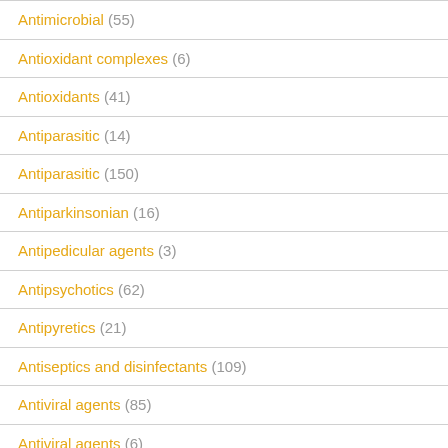Antimicrobial (55)
Antioxidant complexes (6)
Antioxidants (41)
Antiparasitic (14)
Antiparasitic (150)
Antiparkinsonian (16)
Antipedicular agents (3)
Antipsychotics (62)
Antipyretics (21)
Antiseptics and disinfectants (109)
Antiviral agents (85)
Antiviral agents (6)